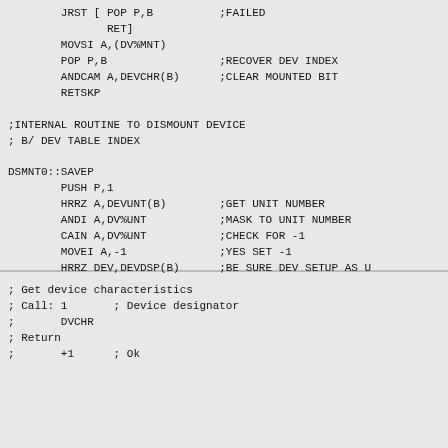JRST [ POP P,B         ;FAILED
        RET]
        MOVSI A,(DV%MNT)
        POP P,B                 ;RECOVER DEV INDEX
        ANDCAM A,DEVCHR(B)      ;CLEAR MOUNTED BIT
        RETSKP

;INTERNAL ROUTINE TO DISMOUNT DEVICE
; B/ DEV TABLE INDEX

DSMNT0::SAVEP
        PUSH P,1
        HRRZ A,DEVUNT(B)        ;GET UNIT NUMBER
        ANDI A,DV%UNT           ;MASK TO UNIT NUMBER
        CAIN A,DV%UNT           ;CHECK FOR -1
        MOVEI A,-1              ;YES SET -1
        HRRZ DEV,DEVDSP(B)      ;BE SURE DEV SETUP AS U
        HRLI DEV,0(A)
        CALL DSM0               ;DO THE WORK
         SOS -1(P)              ;FAILED, PREVENT SKIP R
DSMNT1: POP P,1
        RETSKP
; Get device characteristics
; Call: 1      ; Device designator
;       DVCHR
; Return
;       +1      ; Ok